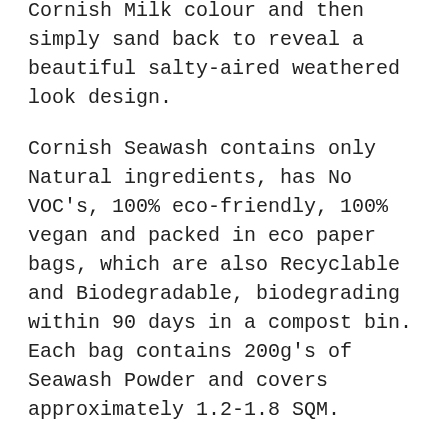Cornish Milk colour and then simply sand back to reveal a beautiful salty-aired weathered look design.
Cornish Seawash contains only Natural ingredients, has No VOC's, 100% eco-friendly, 100% vegan and packed in eco paper bags, which are also Recyclable and Biodegradable, biodegrading within 90 days in a compost bin. Each bag contains 200g's of Seawash Powder and covers approximately 1.2-1.8 SQM.
**MIXING INSTRUCTIONS**
We recommend mixing equal parts Cornish Milk Mineral Paints to equal parts Seawash powder for a nice even paste, but you can make up your